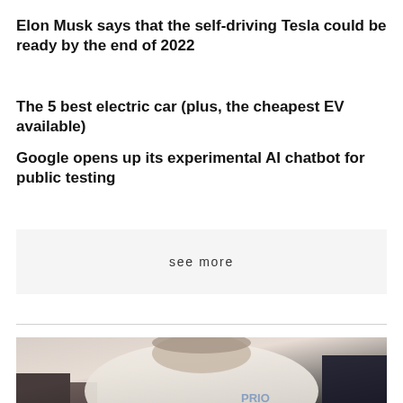Elon Musk says that the self-driving Tesla could be ready by the end of 2022
The 5 best electric car (plus, the cheapest EV available)
Google opens up its experimental AI chatbot for public testing
see more
[Figure (photo): Person wearing a white t-shirt with partial text visible, holding something dark, outdoors background]